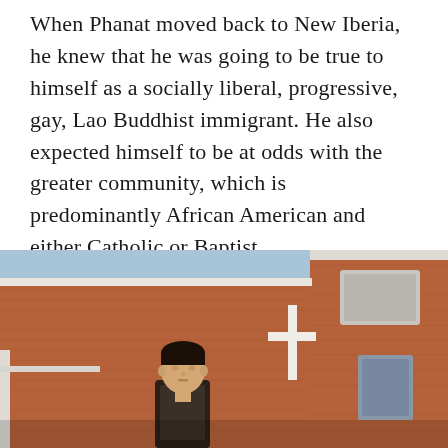When Phanat moved back to New Iberia, he knew that he was going to be true to himself as a socially liberal, progressive, gay, Lao Buddhist immigrant. He also expected himself to be at odds with the greater community, which is predominantly African American and either Catholic or Baptist.
[Figure (photo): A young Asian man standing in front of a red brick church building with a white cross visible on the facade, photographed from a low angle against a blue sky.]